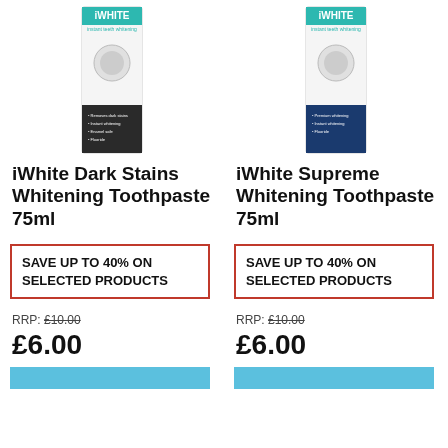[Figure (photo): iWhite Dark Stains Whitening Toothpaste 75ml product box, white and dark packaging, standing upright]
[Figure (photo): iWhite Supreme Whitening Toothpaste 75ml product box, white and blue packaging, standing upright]
iWhite Dark Stains Whitening Toothpaste 75ml
iWhite Supreme Whitening Toothpaste 75ml
SAVE UP TO 40% ON SELECTED PRODUCTS
SAVE UP TO 40% ON SELECTED PRODUCTS
RRP: £10.00
RRP: £10.00
£6.00
£6.00